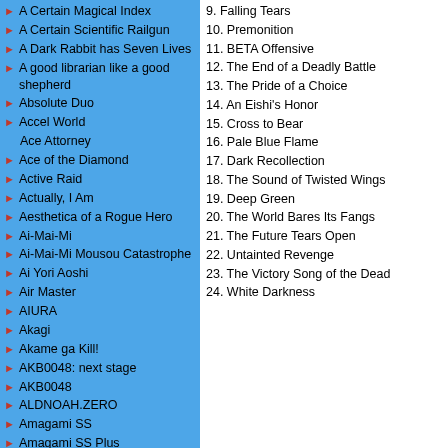A Certain Magical Index
A Certain Scientific Railgun
A Dark Rabbit has Seven Lives
A good librarian like a good shepherd
Absolute Duo
Accel World
Ace Attorney
Ace of the Diamond
Active Raid
Actually, I Am
Aesthetica of a Rogue Hero
Ai-Mai-Mi
Ai-Mai-Mi Mousou Catastrophe
Ai Yori Aoshi
Air Master
AIURA
Akagi
Akame ga Kill!
AKB0048: next stage
AKB0048
ALDNOAH.ZERO
Amagami SS
Amagami SS Plus
Amagi Brilliant Park
Amnesia
And Yet the Town Moves
Angel Beats!
Anime De Training! Ex
Anisava
Anne-Happy
Ano Natsu de Matteru
Anohana: The Flower We Saw That Day
Another
Anti-Magic Academy: The 35th Test Platoon
9. Falling Tears
10. Premonition
11. BETA Offensive
12. The End of a Deadly Battle
13. The Pride of a Choice
14. An Eishi's Honor
15. Cross to Bear
16. Pale Blue Flame
17. Dark Recollection
18. The Sound of Twisted Wings
19. Deep Green
20. The World Bares Its Fangs
21. The Future Tears Open
22. Untainted Revenge
23. The Victory Song of the Dead
24. White Darkness